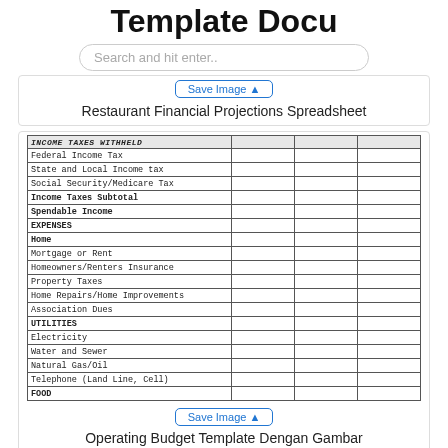Template Docu
Search and hit enter..
Restaurant Financial Projections Spreadsheet
|  |  |  |  |
| --- | --- | --- | --- |
| INCOME TAXES WITHHELD |  |  |  |
| Federal Income Tax |  |  |  |
| State and Local Income tax |  |  |  |
| Social Security/Medicare Tax |  |  |  |
| Income Taxes Subtotal |  |  |  |
| Spendable Income |  |  |  |
| EXPENSES |  |  |  |
| Home |  |  |  |
| Mortgage or Rent |  |  |  |
| Homeowners/Renters Insurance |  |  |  |
| Property Taxes |  |  |  |
| Home Repairs/Home Improvements |  |  |  |
| Association Dues |  |  |  |
| UTILITIES |  |  |  |
| Electricity |  |  |  |
| Water and Sewer |  |  |  |
| Natural Gas/Oil |  |  |  |
| Telephone (Land Line, Cell) |  |  |  |
| FOOD |  |  |  |
Operating Budget Template Dengan Gambar